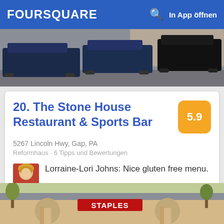FOURSQUARE  In App öffnen
[Figure (photo): Parking lot scene with dark SUVs and a building in the background]
20. The Stone House Restaurant & Sports Bar
5.9
5267 Lincoln Hwy, Gap, PA
Reformhaus · 6 Tipps und Bewertungen
Lorraine-Lori Johns: Nice gluten free menu.
[Figure (photo): Staples store exterior with arched entrance and trees in parking lot]